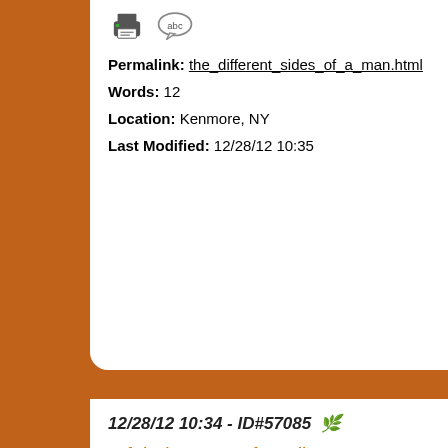[Figure (screenshot): Printer icon and speech bubble (abc) icon]
Permalink: the_different_sides_of_a_man.html
Words: 12
Location: Kenmore, NY
Last Modified: 12/28/12 10:35
12/28/12 10:34 - ID#57085
a fabulous note from jho
what a fabulous letter Jessica sent me and Carly from
[Figure (photo): Photo of a handwritten letter with blue ink marks on white paper]